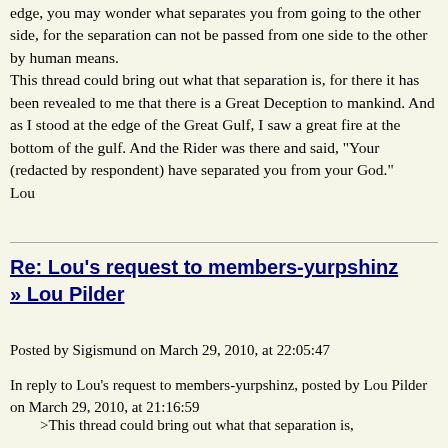edge, you may wonder what separates you from going to the other side, for the separation can not be passed from one side to the other by human means.
This thread could bring out what that separation is, for there it has been revealed to me that there is a Great Deception to mankind. And as I stood at the edge of the Great Gulf, I saw a great fire at the bottom of the gulf. And the Rider was there and said, "Your (redacted by respondent) have separated you from your God."
Lou
Re: Lou's request to members-yurpshinz » Lou Pilder
Posted by Sigismund on March 29, 2010, at 22:05:47
In reply to Lou's request to members-yurpshinz, posted by Lou Pilder on March 29, 2010, at 21:16:59
>This thread could bring out what that separation is,